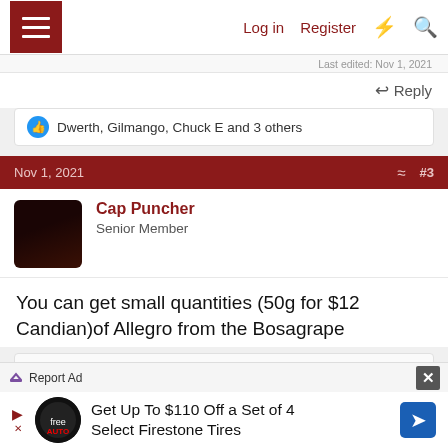Log in  Register
Last edited: Nov 1, 2021
Reply
Dwerth, Gilmango, Chuck E and 3 others
Nov 1, 2021  #3
Cap Puncher
Senior Member
You can get small quantities (50g for $12 Candian)of Allegro from the Bosagrape
Bosagrape Winery Supplies Ltd. > Wine Yeast > Rena...
Allegro Allegro is a H2S-preventing wine yeast strain good for white wine fermentations. Also for fruit and aromatic expression of fresh fruit
Report Ad
Get Up To $110 Off a Set of 4 Select Firestone Tires